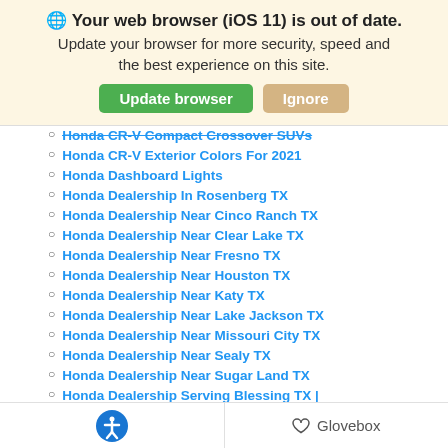🌐 Your web browser (iOS 11) is out of date. Update your browser for more security, speed and the best experience on this site. [Update browser] [Ignore]
Honda CR-V Compact Crossover SUVs (strikethrough/partial)
Honda CR-V Exterior Colors For 2021
Honda Dashboard Lights
Honda Dealership In Rosenberg TX
Honda Dealership Near Cinco Ranch TX
Honda Dealership Near Clear Lake TX
Honda Dealership Near Fresno TX
Honda Dealership Near Houston TX
Honda Dealership Near Katy TX
Honda Dealership Near Lake Jackson TX
Honda Dealership Near Missouri City TX
Honda Dealership Near Sealy TX
Honda Dealership Near Sugar Land TX
Honda Dealership Serving Blessing TX | Gillman Honda Fort Bend
Honda Dealership Serving Bloomington TX | Gillman Honda Fort Bend
Honda Dealership Serving El Campo TX
♿ Glovebox